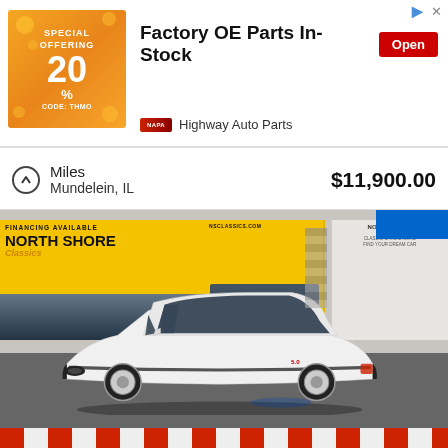[Figure (infographic): Orange advertisement banner for 'Special Offering 20% Off' auto parts deal with 'Factory OE Parts In-Stock' text and 'Open' red button. Highway Auto Parts branding shown below.]
Factory OE Parts In-Stock
Highway Auto Parts
Miles
Mundelein, IL
$11,900.00
[Figure (photo): White Ford Mustang (Fox body) parked inside a car dealership garage. North Shore Classics signage visible on the wall behind the car. The car is white with black trim. Garage floor has red and white checkered stripe at the bottom.]